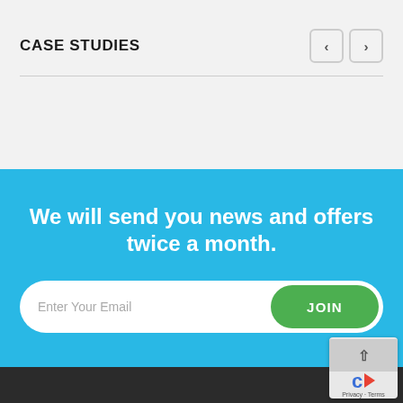CASE STUDIES
We will send you news and offers twice a month.
Enter Your Email  JOIN
[Figure (logo): reCAPTCHA badge with up arrow, stylized C logo with red arrow, and Privacy · Terms links]